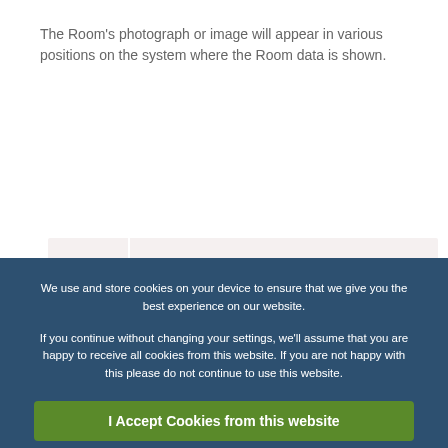The Room's photograph or image will appear in various positions on the system where the Room data is shown.
We use and store cookies on your device to ensure that we give you the best experience on our website.

If you continue without changing your settings, we'll assume that you are happy to receive all cookies from this website. If you are not happy with this please do not continue to use this website.
I Accept Cookies from this website